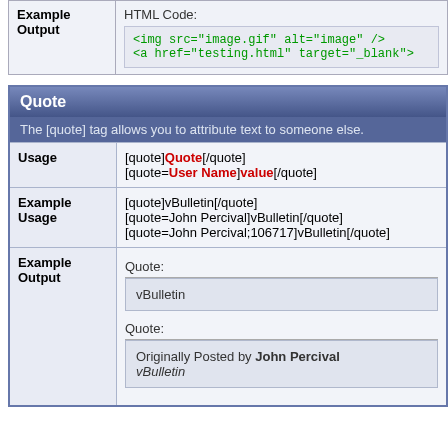|  |  |
| --- | --- |
| Example Output | HTML Code:
<img src="image.gif" alt="image" />
<a href="testing.html" target="_blank"> |
Quote
The [quote] tag allows you to attribute text to someone else.
|  |  |
| --- | --- |
| Usage | [quote]Quote[/quote]
[quote=User Name]value[/quote] |
| Example Usage | [quote]vBulletin[/quote]
[quote=John Percival]vBulletin[/quote]
[quote=John Percival;106717]vBulletin[/quote] |
| Example Output | Quote:
vBulletin

Quote:
Originally Posted by John Percival
vBulletin |